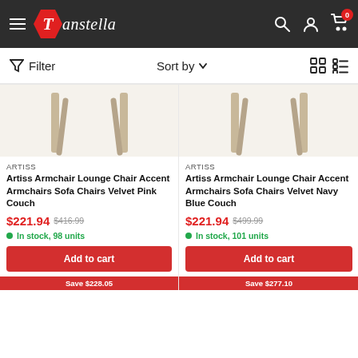Tanstella — navigation header with hamburger, logo, search, account, cart (0)
Filter   Sort by   [grid view icons]
[Figure (photo): Partial view of armchair legs/bottom on light beige background — left product card image]
ARTISS
Artiss Armchair Lounge Chair Accent Armchairs Sofa Chairs Velvet Pink Couch
$221.94  $416.99
In stock, 98 units
Add to cart
Save $228.05
[Figure (photo): Partial view of armchair legs/bottom on light beige background — right product card image]
ARTISS
Artiss Armchair Lounge Chair Accent Armchairs Sofa Chairs Velvet Navy Blue Couch
$221.94  $499.99
In stock, 101 units
Add to cart
Save $277.10